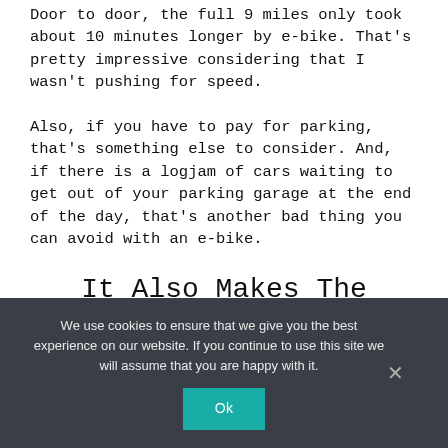Door to door, the full 9 miles only took about 10 minutes longer by e-bike. That's pretty impressive considering that I wasn't pushing for speed.
Also, if you have to pay for parking, that's something else to consider. And, if there is a logjam of cars waiting to get out of your parking garage at the end of the day, that's another bad thing you can avoid with an e-bike.
It Also Makes The
We use cookies to ensure that we give you the best experience on our website. If you continue to use this site we will assume that you are happy with it.